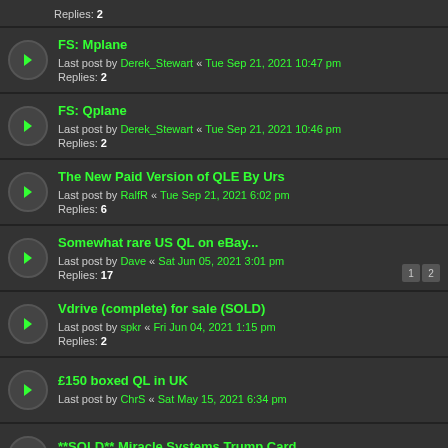Replies: 2
FS: Mplane
Last post by Derek_Stewart « Tue Sep 21, 2021 10:47 pm
Replies: 2
FS: Qplane
Last post by Derek_Stewart « Tue Sep 21, 2021 10:46 pm
Replies: 2
The New Paid Version of QLE By Urs
Last post by RalfR « Tue Sep 21, 2021 6:02 pm
Replies: 6
Somewhat rare US QL on eBay...
Last post by Dave « Sat Jun 05, 2021 3:01 pm
Replies: 17
Vdrive (complete) for sale (SOLD)
Last post by spkr « Fri Jun 04, 2021 1:15 pm
Replies: 2
£150 boxed QL in UK
Last post by ChrS « Sat May 15, 2021 6:34 pm
**SOLD** Miracle Systems Trump Card
Last post by JonB « Tue May 04, 2021 1:05 pm